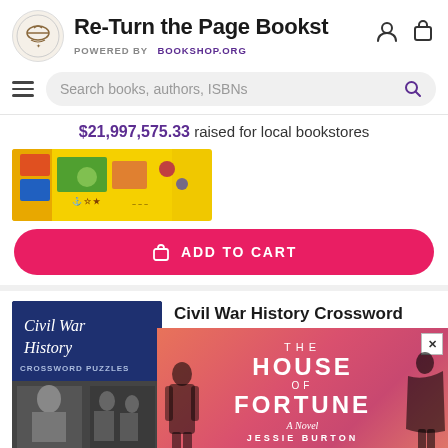Re-Turn the Page Bookst — POWERED BY Bookshop.org
$21,997,575.33 raised for local bookstores
[Figure (screenshot): Partial colorful book cover (yellow/green) partially visible at top]
ADD TO CART
[Figure (photo): Civil War History Crossword Puzzles book cover — dark navy blue with white script lettering]
Civil War History Crossword Puzzles
$4.95
$4.60
[Figure (illustration): Ad overlay: The House of Fortune — A Novel by Jessie Burton, pink/red gradient background with silhouetted figures]